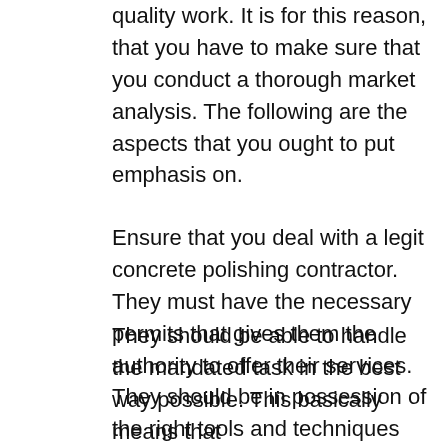quality work. It is for this reason, that you have to make sure that you conduct a thorough market analysis. The following are the aspects that you ought to put emphasis on.
Ensure that you deal with a legit concrete polishing contractor. They must have the necessary permits that gives them the authority to offer their services. They should be in possession of the right tools and techniques for delivering their services. They should also be advanced in terms of technology. This means that they ought to have state-of-the-art techniques for discharging their mandate. They should also have a team of professionals at their disposal for them to be able to deliver quality work. This means that they should be well trained and qualified for the task.
They should be able to handle the mandated task in the best way possible. This basically means that